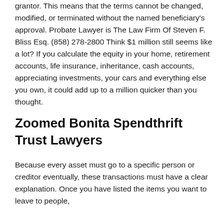grantor. This means that the terms cannot be changed, modified, or terminated without the named beneficiary's approval. Probate Lawyer is The Law Firm Of Steven F. Bliss Esq. (858) 278-2800 Think $1 million still seems like a lot? If you calculate the equity in your home, retirement accounts, life insurance, inheritance, cash accounts, appreciating investments, your cars and everything else you own, it could add up to a million quicker than you thought.
Zoomed Bonita Spendthrift Trust Lawyers
Because every asset must go to a specific person or creditor eventually, these transactions must have a clear explanation. Once you have listed the items you want to leave to people,